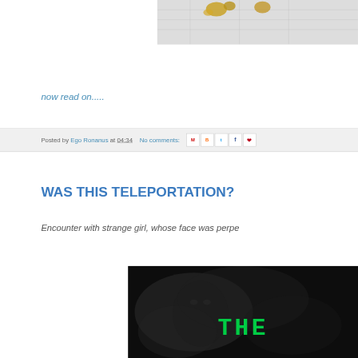[Figure (photo): Partial view of a photograph showing golden/brown objects on a light background with some text or map visible, cropped at top of page]
now read on.....
Posted by Ego Ronanus at 04:34   No comments:
WAS THIS TELEPORTATION?
Encounter with strange girl, whose face was perpe
[Figure (photo): Dark background image with smoky/misty effect and green text reading 'THE' visible, appears to be a book or movie cover]